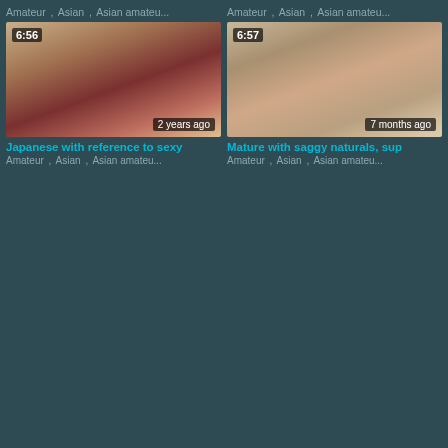Amateur , Asian , Asian amateu...
Amateur , Asian , Asian amateu...
[Figure (screenshot): Video thumbnail showing indoor bedroom scene, duration 6:56, 2 years ago]
[Figure (screenshot): Video thumbnail showing indoor scene, duration 6:57, 7 months ago]
Japanese with reference to sexy
Mature with saggy naturals, sup
Amateur , Asian , Asian amateu...
Amateur , Asian , Asian amateu...